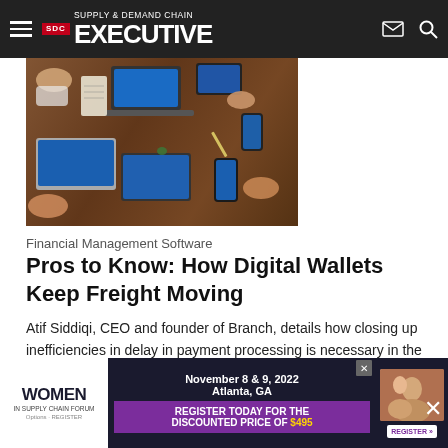Supply & Demand Chain Executive
[Figure (photo): Overhead view of people working at a wooden table with laptops, tablets, smartphones, notebooks and coffee cups]
Financial Management Software
Pros to Know: How Digital Wallets Keep Freight Moving
Atif Siddiqi, CEO and founder of Branch, details how closing up inefficiencies in delay in payment processing is necessary in the resilience of supply chains.
Hannah Gooch
April 26, 2022
[Figure (screenshot): Advertisement banner for Women in Supply Chain Forum, November 8 & 9 2022, Atlanta GA. Register today for the discounted price of $495.]